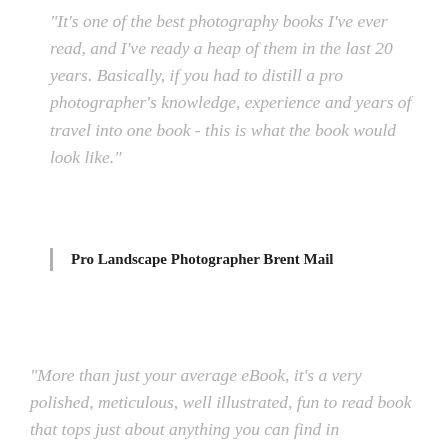"It's one of the best photography books I've ever read, and I've ready a heap of them in the last 20 years. Basically, if you had to distill a pro photographer's knowledge, experience and years of travel into one book - this is what the book would look like."
Pro Landscape Photographer Brent Mail
“More than just your average eBook, it's a very polished, meticulous, well illustrated, fun to read book that tops just about anything you can find in bookstores. If you are not already a seasoned pro, this is honestly the